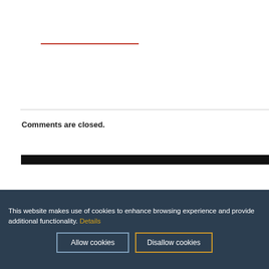Comments are closed.
© 2022 Inside Out S.r.l. - Progetti Visivi. p.iva
This website makes use of cookies to enhance browsing experience and provide additional functionality. Details
Allow cookies   Disallow cookies